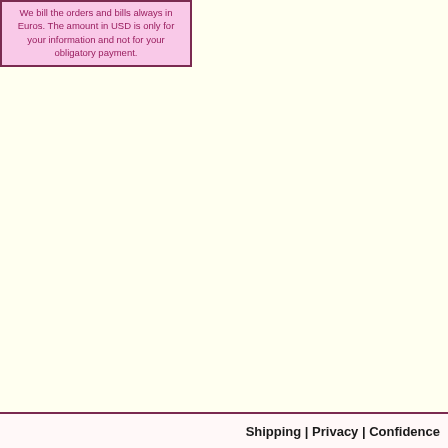We bill the orders and bills always in Euros. The amount in USD is only for your information and not for your obligatory payment.
Shipping | Privacy | Confidence